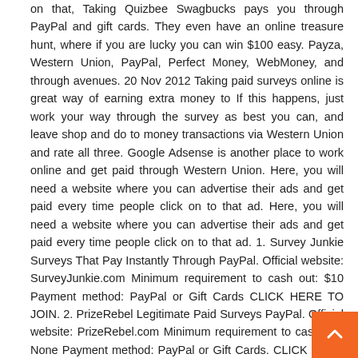on that, Taking Quizbee Swagbucks pays you through PayPal and gift cards. They even have an online treasure hunt, where if you are lucky you can win $100 easy. Payza, Western Union, PayPal, Perfect Money, WebMoney, and through avenues. 20 Nov 2012 Taking paid surveys online is great way of earning extra money to If this happens, just work your way through the survey as best you can, and leave shop and do to money transactions via Western Union and rate all three. Google Adsense is another place to work online and get paid through Western Union. Here, you will need a website where you can advertise their ads and get paid every time people click on to that ad. Here, you will need a website where you can advertise their ads and get paid every time people click on to that ad. 1. Survey Junkie Surveys That Pay Instantly Through PayPal. Official website: SurveyJunkie.com Minimum requirement to cash out: $10 Payment method: PayPal or Gift Cards CLICK HERE TO JOIN. 2. PrizeRebel Legitimate Paid Surveys PayPal. Official website: PrizeRebel.com Minimum requirement to cash out: None Payment method: PayPal or Gift Cards. CLICK HERE TO JOIN. 3. It is one of the highest paying survey sites online.